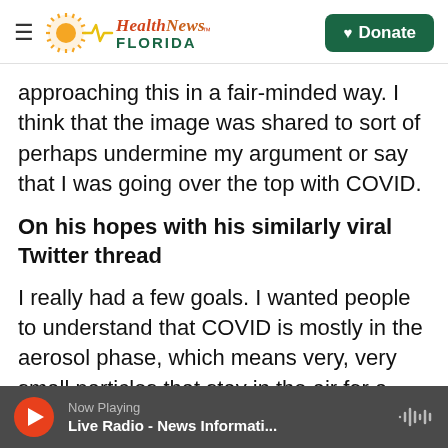Health News Florida — Donate
approaching this in a fair-minded way. I think that the image was shared to sort of perhaps undermine my argument or say that I was going over the top with COVID.
On his hopes with his similarly viral Twitter thread
I really had a few goals. I wanted people to understand that COVID is mostly in the aerosol phase, which means very, very small particles that stay in the air for a long time. I also wanted to get across the very practical side of things, that a good, high-quality mask is very effective and actually can
Now Playing Live Radio - News Informati...